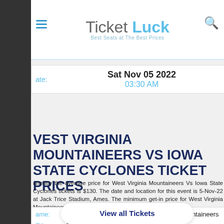Ticket Luck — Best Seats at The Best Prices
Date: Sat Nov 05 2022 03:30 AM
WEST VIRGINIA MOUNTAINEERS VS IOWA STATE CYCLONES TICKET PRICES
Currently the average price for West Virginia Mountaineers Vs Iowa State Cyclones tickets is $130. The date and location for this event is 5-Nov-22 at Jack Trice Stadium, Ames. The minimum get-in price for West Virginia Mountaineers Vs Iowa State Cyclones tickets is $24.
Name: Iowa State Cyclones vs. West Virginia Mountaineers
City: Ames
View all Tickets